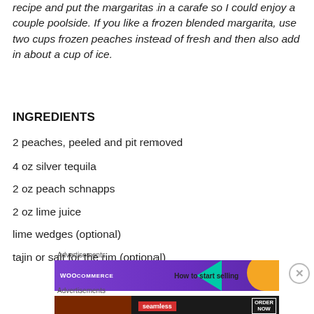recipe and put the margaritas in a carafe so I could enjoy a couple poolside. If you like a frozen blended margarita, use two cups frozen peaches instead of fresh and then also add in about a cup of ice.
INGREDIENTS
2 peaches, peeled and pit removed
4 oz silver tequila
2 oz peach schnapps
2 oz lime juice
lime wedges (optional)
tajin or salt for the rim (optional)
[Figure (screenshot): WooCommerce advertisement banner with 'How to start selling' text]
[Figure (screenshot): Seamless food delivery advertisement with 'ORDER NOW' button]